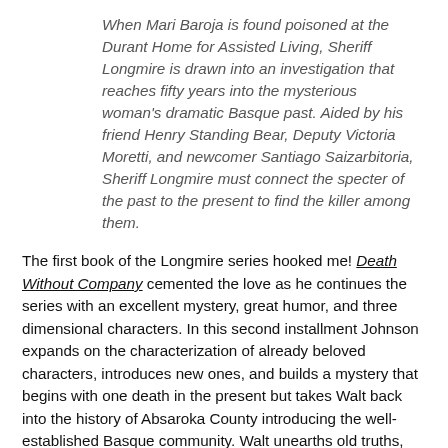When Mari Baroja is found poisoned at the Durant Home for Assisted Living, Sheriff Longmire is drawn into an investigation that reaches fifty years into the mysterious woman's dramatic Basque past. Aided by his friend Henry Standing Bear, Deputy Victoria Moretti, and newcomer Santiago Saizarbitoria, Sheriff Longmire must connect the specter of the past to the present to find the killer among them.
The first book of the Longmire series hooked me! Death Without Company cemented the love as he continues the series with an excellent mystery, great humor, and three dimensional characters. In this second installment Johnson expands on the characterization of already beloved characters, introduces new ones, and builds a mystery that begins with one death in the present but takes Walt back into the history of Absaroka County introducing the well-established Basque community. Walt unearths old truths, opens old wounds, and ends up questioning his sense of justice.